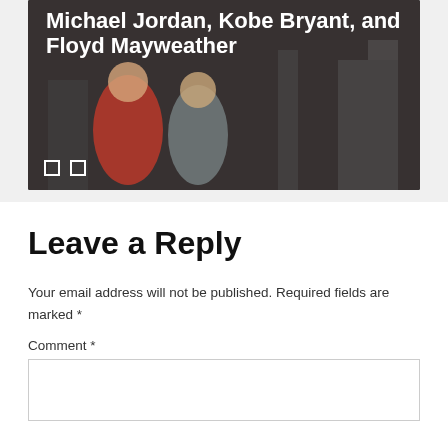[Figure (photo): A gym/fitness center background image with overlaid white bold text reading 'Michael Jordan, Kobe Bryant, and Floyd Mayweather'. Navigation dots visible at bottom left.]
Leave a Reply
Your email address will not be published. Required fields are marked *
Comment *